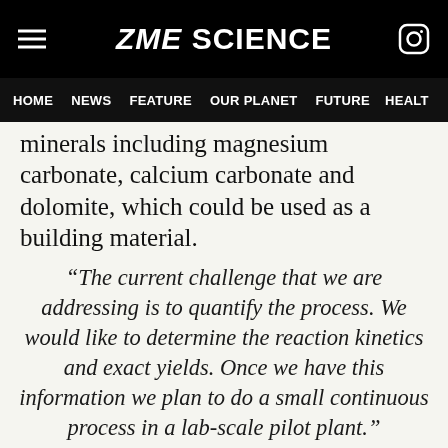ZME SCIENCE
HOME  NEWS  FEATURE  OUR PLANET  FUTURE  HEALT
minerals including magnesium carbonate, calcium carbonate and dolomite, which could be used as a building material.
“The current challenge that we are addressing is to quantify the process. We would like to determine the reaction kinetics and exact yields. Once we have this information we plan to do a small continuous process in a lab-scale pilot plant.”
[Figure (illustration): Large purple opening quotation marks decorative element]